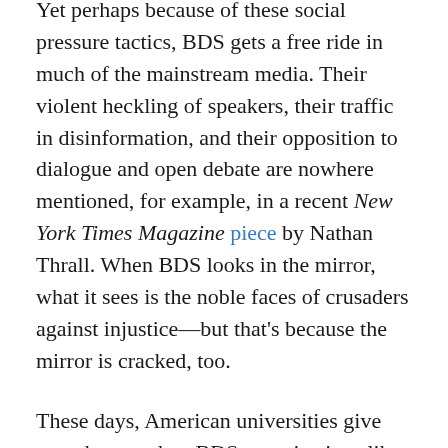Yet perhaps because of these social pressure tactics, BDS gets a free ride in much of the mainstream media. Their violent heckling of speakers, their traffic in disinformation, and their opposition to dialogue and open debate are nowhere mentioned, for example, in a recent New York Times Magazine piece by Nathan Thrall. When BDS looks in the mirror, what it sees is the noble faces of crusaders against injustice—but that's because the mirror is cracked, too.
These days, American universities give awards to student BDS organizations like Students for Justice in Palestine , which dutifully parrot the hateful nonsense spewed by their professors, in a grotesque parody of what a humanistic education should look like. Instead, the academy ought to follow the German Bundestag, which declared on May 17 that "the pattern of argument and the methods of BDS are